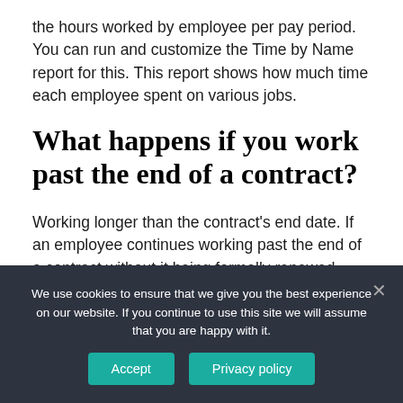the hours worked by employee per pay period. You can run and customize the Time by Name report for this. This report shows how much time each employee spent on various jobs.
What happens if you work past the end of a contract?
Working longer than the contract's end date. If an employee continues working past the end of a contract without it being formally renewed, there's an 'implied agreement' by the employer that the
We use cookies to ensure that we give you the best experience on our website. If you continue to use this site we will assume that you are happy with it.